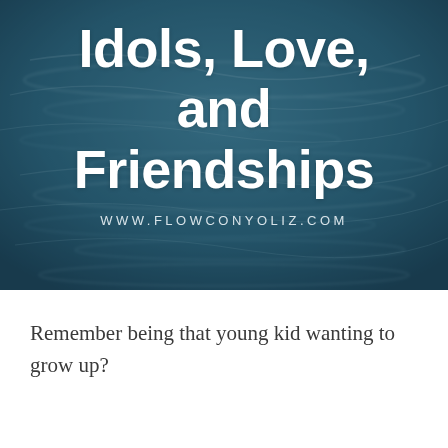[Figure (photo): Water surface with ripples, blue-teal toned, used as background image with overlay]
Idols, Love, and Friendships
WWW.FLOWCONYOLIZ.COM
Remember being that young kid wanting to grow up?